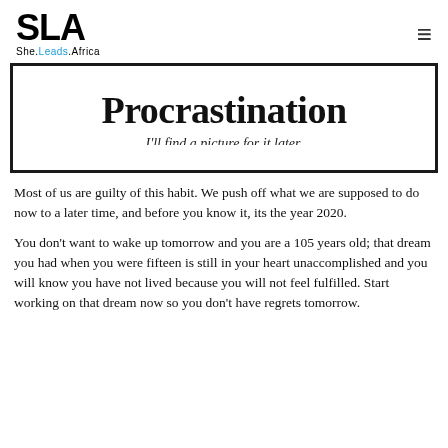SLA She.Leads.Africa
[Figure (illustration): A bordered box (bracket style top and bottom) containing the word 'Procrastination' in large bold serif font, with the subtitle 'I'll find a picture for it later.' in italics below it.]
Most of us are guilty of this habit. We push off what we are supposed to do now to a later time, and before you know it, its the year 2020.
You don't want to wake up tomorrow and you are a 105 years old; that dream you had when you were fifteen is still in your heart unaccomplished and you will know you have not lived because you will not feel fulfilled. Start working on that dream now so you don't have regrets tomorrow.